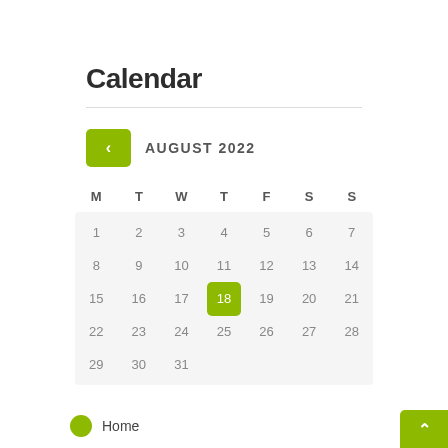Calendar
[Figure (other): Calendar widget showing August 2022 with day 18 highlighted in green. Navigation back button on the left. Days of week headers M T W T F S S. Dates 1-31 displayed in a grid on a light grey background.]
Home